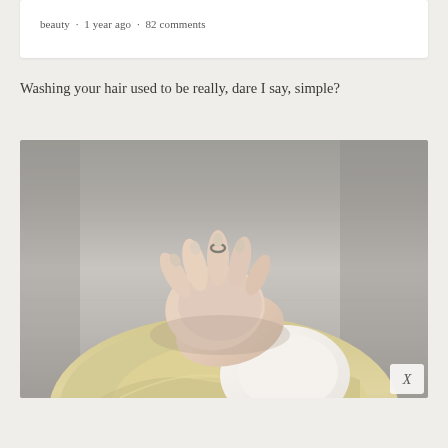beauty · 1 year ago · 82 comments
Washing your hair used to be really, dare I say, simple?
[Figure (photo): Close-up photo of a person with blonde hair, hand (with a ring on one finger) placed on top of their head, against a grey blurred background. A white collar/shoulder is visible. An X close button appears in the bottom-right corner of the image.]